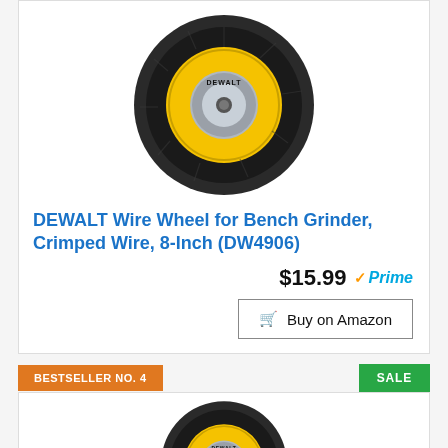[Figure (photo): DEWALT wire wheel brush for bench grinder, circular with yellow center hub and black wire bristles]
DEWALT Wire Wheel for Bench Grinder, Crimped Wire, 8-Inch (DW4906)
$15.99 Prime
Buy on Amazon
BESTSELLER NO. 4
SALE
[Figure (photo): Second DEWALT wire wheel brush, partially visible at bottom of page]